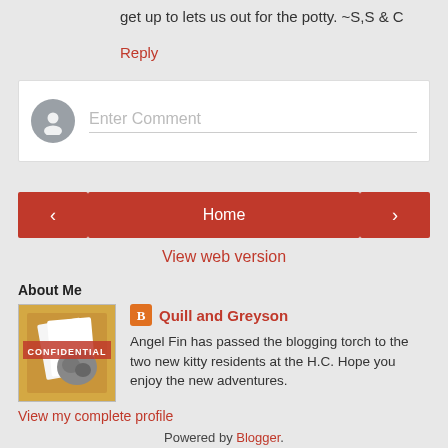get up to lets us out for the potty. ~S,S & C
Reply
[Figure (other): Comment input box with user avatar placeholder and 'Enter Comment' placeholder text]
[Figure (other): Navigation buttons: left arrow, Home, right arrow]
View web version
About Me
[Figure (illustration): Book cover thumbnail labeled CONFIDENTIAL with a cat image]
Quill and Greyson
Angel Fin has passed the blogging torch to the two new kitty residents at the H.C. Hope you enjoy the new adventures.
View my complete profile
Powered by Blogger.